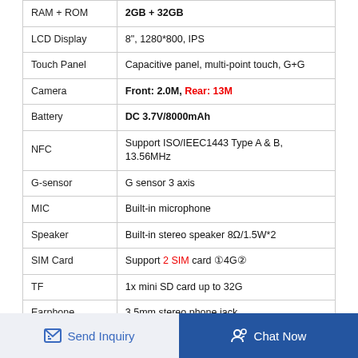| Feature | Specification |
| --- | --- |
| RAM + ROM | 2GB + 32GB |
| LCD Display | 8", 1280*800, IPS |
| Touch Panel | Capacitive panel, multi-point touch, G+G |
| Camera | Front: 2.0M, Rear: 13M |
| Battery | DC 3.7V/8000mAh |
| NFC | Support ISO/IEEC1443 Type A & B, 13.56MHz |
| G-sensor | G sensor 3 axis |
| MIC | Built-in microphone |
| Speaker | Built-in stereo speaker 8Ω/1.5W*2 |
| SIM Card | Support 2 SIM card（4G） |
| TF | 1x mini SD card up to 32G |
| Earphone | 3.5mm stereo phone jack |
Send Inquiry
Chat Now